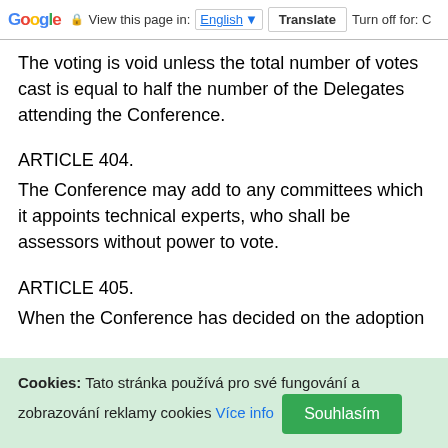Google  View this page in: English [▼]  Translate  Turn off for: C
The voting is void unless the total number of votes cast is equal to half the number of the Delegates attending the Conference.
ARTICLE 404.
The Conference may add to any committees which it appoints technical experts, who shall be assessors without power to vote.
ARTICLE 405.
When the Conference has decided on the adoption of
Cookies: Tato stránka používá pro své fungování a zobrazování reklamy cookies Více info  Souhlasím